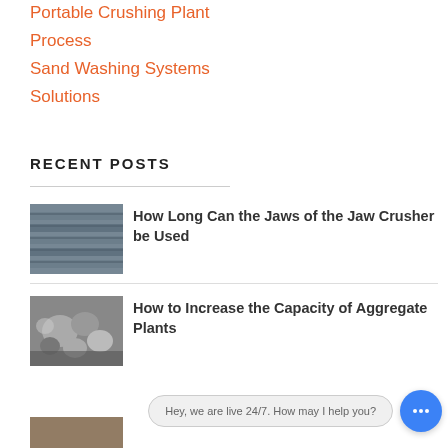Portable Crushing Plant
Process
Sand Washing Systems
Solutions
RECENT POSTS
How Long Can the Jaws of the Jaw Crusher be Used
[Figure (photo): Photo of jaw crusher metal plates with horizontal ridges]
How to Increase the Capacity of Aggregate Plants
[Figure (photo): Photo of rocks/aggregate in a crushing machine]
[Figure (photo): Partial photo at bottom of page]
Hey, we are live 24/7. How may I help you?